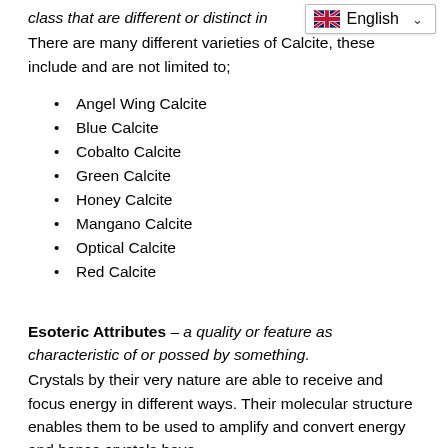class that are different or distinct in
There are many different varieties of Calcite, these include and are not limited to;
Angel Wing Calcite
Blue Calcite
Cobalto Calcite
Green Calcite
Honey Calcite
Mangano Calcite
Optical Calcite
Red Calcite
Esoteric Attributes – a quality or feature as characteristic of or possed by something.
Crystals by their very nature are able to receive and focus energy in different ways. Their molecular structure enables them to be used to amplify and convert energy and hence crystals have